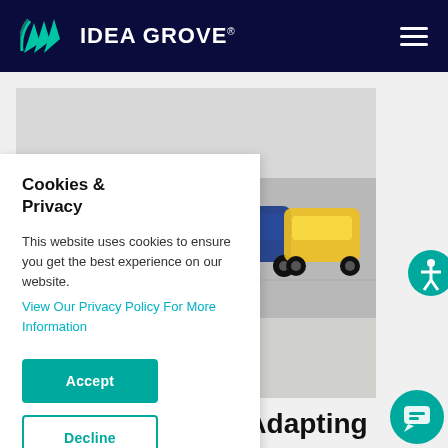IDEA GROVE
[Figure (photo): Row of colorful cars in a showroom, viewed from the side, with reflective floor]
Cookies & Privacy
This website uses cookies to ensure you get the best experience on our website. View Our Privacy Policy For More Information
Accept
Decline
elations: Adapting